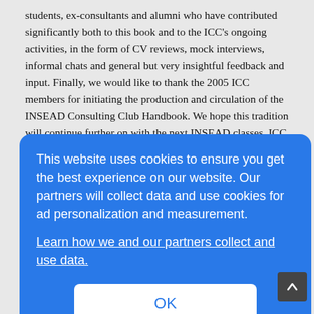students, ex-consultants and alumni who have contributed significantly both to this book and to the ICC's ongoing activities, in the form of CV reviews, mock interviews, informal chats and general but very insightful feedback and input. Finally, we would like to thank the 2005 ICC members for initiating the production and circulation of the INSEAD Consulting Club Handbook. We hope this tradition will continue further on with the next INSEAD classes. ICC Board, 2011
ICC Handbook 2011 Page 4
[Figure (screenshot): Cookie consent overlay dialog with blue background. Text reads: 'This website uses cookies to ensure you get the best experience on our website. Our partners will collect data and use cookies for ad personalization and measurement.' Followed by a link 'Learn how we and our partners collect and use data.' and an OK button.]
...able ...teady ...gh ...ment ...g this ...09. In ...ution ...The ...es in the Middle East while other emerging markets and specifically Asia Pacific and Latin America keep attracting a growing proportion of